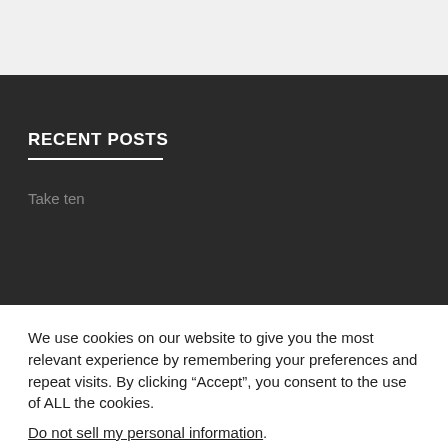[Figure (screenshot): Top gray background area of a webpage]
RECENT POSTS
Take ten
We use cookies on our website to give you the most relevant experience by remembering your preferences and repeat visits. By clicking “Accept”, you consent to the use of ALL the cookies.
Do not sell my personal information.
Cookie Settings
Accept